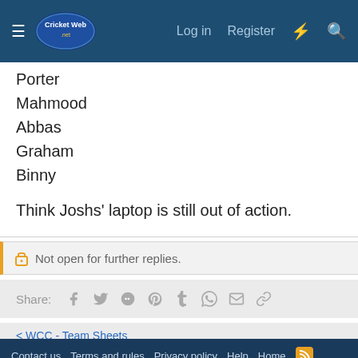CricketWeb.net — Log in | Register
Porter
Mahmood
Abbas
Graham
Binny
Think Joshs' laptop is still out of action.
🔒 Not open for further replies.
Share: [social icons: Facebook, Twitter, Reddit, Pinterest, Tumblr, WhatsApp, Email, Link]
< WCC - Team Sheets
Contact us  Terms and rules  Privacy policy  Help  Home  [RSS] Forum software by XenForo® © 2010-2020 XenForo Ltd.